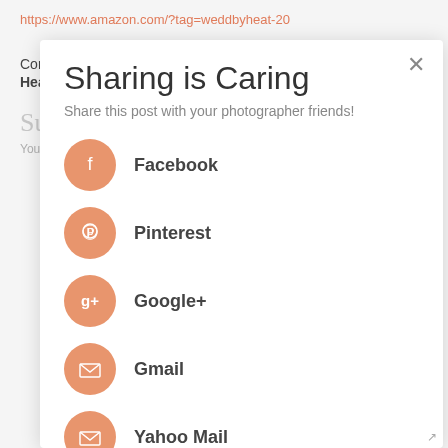https://www.amazon.com/?tag=weddbyheat-20
Connect:
Heather Lahtinen: Website, Facebook, Instagram
Sharing is Caring
Share this post with your photographer friends!
Submit a Comment
Your email address will not be published. Required fields are marked *
Facebook
Pinterest
Google+
Gmail
Yahoo Mail
Buffer